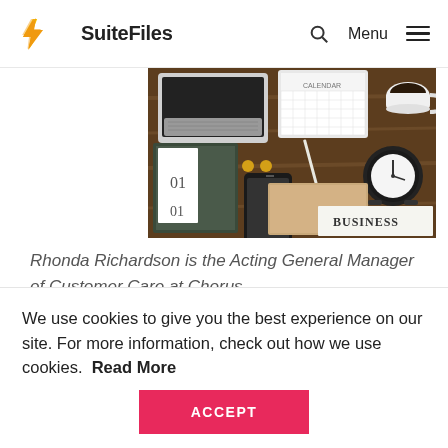SuiteFiles — Menu
[Figure (photo): Overhead flat-lay photo of a wooden desk with laptop, tablet, calendar, smartphone, alarm clock, coffee cup, notebooks, and a business newspaper.]
Rhonda Richardson is the Acting General Manager of Customer Care at Chorus.
What do you do day-to-day/long term to
We use cookies to give you the best experience on our site. For more information, check out how we use cookies. Read More
ACCEPT